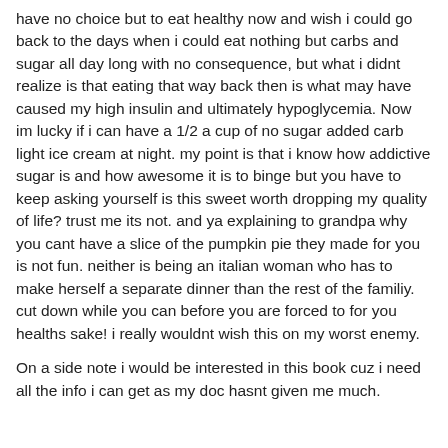have no choice but to eat healthy now and wish i could go back to the days when i could eat nothing but carbs and sugar all day long with no consequence, but what i didnt realize is that eating that way back then is what may have caused my high insulin and ultimately hypoglycemia. Now im lucky if i can have a 1/2 a cup of no sugar added carb light ice cream at night. my point is that i know how addictive sugar is and how awesome it is to binge but you have to keep asking yourself is this sweet worth dropping my quality of life? trust me its not. and ya explaining to grandpa why you cant have a slice of the pumpkin pie they made for you is not fun. neither is being an italian woman who has to make herself a separate dinner than the rest of the familiy. cut down while you can before you are forced to for you healths sake! i really wouldnt wish this on my worst enemy.
On a side note i would be interested in this book cuz i need all the info i can get as my doc hasnt given me much.